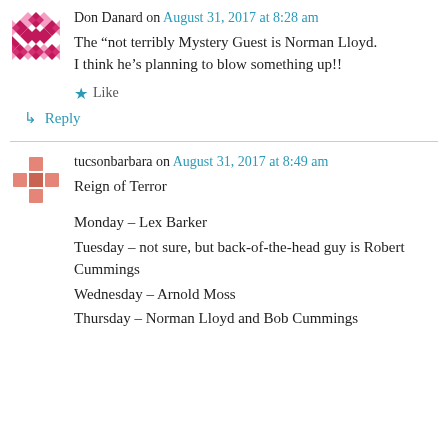Don Danard on August 31, 2017 at 8:28 am
The “not terribly Mystery Guest is Norman Lloyd. I think he’s planning to blow something up!!
★ Like
↵ Reply
tucsonbarbara on August 31, 2017 at 8:49 am
Reign of Terror
Monday – Lex Barker
Tuesday – not sure, but back-of-the-head guy is Robert Cummings
Wednesday – Arnold Moss
Thursday – Norman Lloyd and Bob Cummings